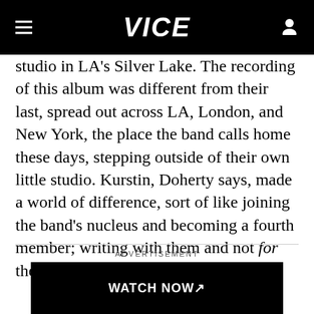VICE
studio in LA's Silver Lake. The recording of this album was different from their last, spread out across LA, London, and New York, the place the band calls home these days, stepping outside of their own little studio. Kurstin, Doherty says, made a world of difference, sort of like joining the band's nucleus and becoming a fourth member; writing with them and not for them.
ADVERTISEMENT
[Figure (other): Black advertisement box with 'WATCH NOW' text and arrow]